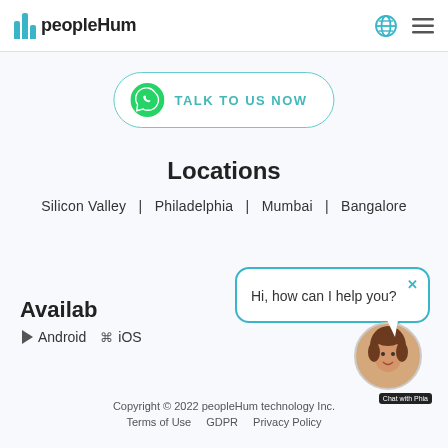peopleHum
TALK TO US NOW
Locations
Silicon Valley  |  Philadelphia  |  Mumbai  |  Bangalore
Available on  Android  iOS
[Figure (screenshot): Chat bubble with text 'Hi, how can I help you?' and a chat avatar bot labeled 'Chat with Phia']
Copyright © 2022 peopleHum technology Inc.  Terms of Use  GDPR  Privacy Policy